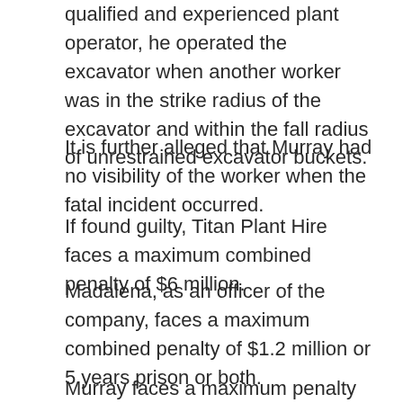qualified and experienced plant operator, he operated the excavator when another worker was in the strike radius of the excavator and within the fall radius of unrestrained excavator buckets.
It is further alleged that Murray had no visibility of the worker when the fatal incident occurred.
If found guilty, Titan Plant Hire faces a maximum combined penalty of $6 million.
Madalena, as an officer of the company, faces a maximum combined penalty of $1.2 million or 5 years prison or both.
Murray faces a maximum penalty of $300,000 or five years in prison or both.